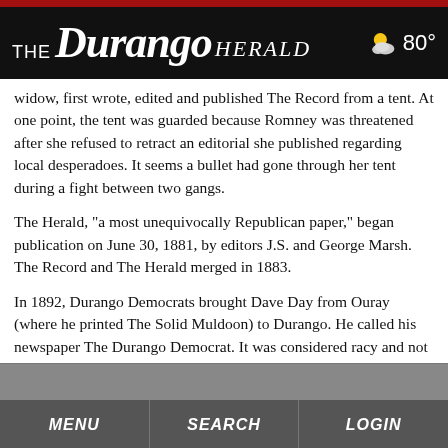THE Durango HERALD  80°
widow, first wrote, edited and published The Record from a tent. At one point, the tent was guarded because Romney was threatened after she refused to retract an editorial she published regarding local desperadoes. It seems a bullet had gone through her tent during a fight between two gangs.
The Herald, "a most unequivocally Republican paper," began publication on June 30, 1881, by editors J.S. and George Marsh. The Record and The Herald merged in 1883.
In 1892, Durango Democrats brought Dave Day from Ouray (where he printed The Solid Muldoon) to Durango. He called his newspaper The Durango Democrat. It was considered racy and not fit reading for the young.
Frank Hartman started the Trade's Journal. There was a shoot-out between Hartman and Day during which Hartman
MENU   SEARCH   LOGIN